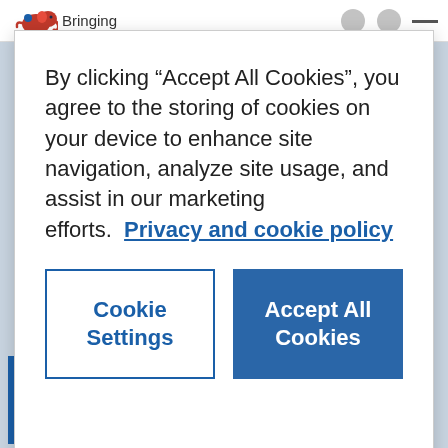Bringing
By clicking “Accept All Cookies”, you agree to the storing of cookies on your device to enhance site navigation, analyze site usage, and assist in our marketing efforts.  Privacy and cookie policy
Cookie Settings
Accept All Cookies
We asked the team to consider our beautiful and unusual cityscape in their